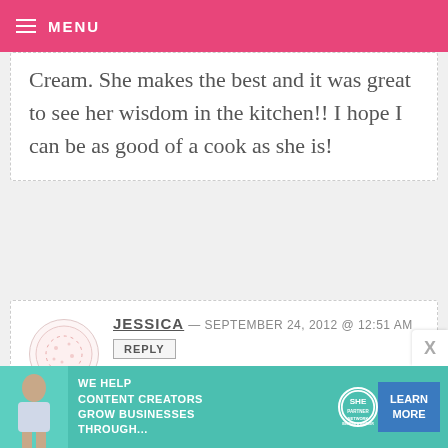MENU
Cream. She makes the best and it was great to see her wisdom in the kitchen!! I hope I can be as good of a cook as she is!
JESSICA — SEPTEMBER 24, 2012 @ 12:51 AM
I loved baking cookies with my Aunt every year before Christmas.
[Figure (infographic): SHE Partner Network advertisement banner with woman photo, headline 'WE HELP CONTENT CREATORS GROW BUSINESSES THROUGH...', SHE logo, and LEARN MORE button]